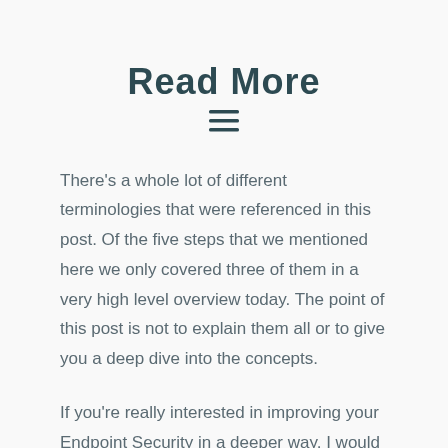Read More
There's a whole lot of different terminologies that were referenced in this post. Of the five steps that we mentioned here we only covered three of them in a very high level overview today. The point of this post is not to explain them all or to give you a deep dive into the concepts.
If you're really interested in improving your Endpoint Security in a deeper way, I would